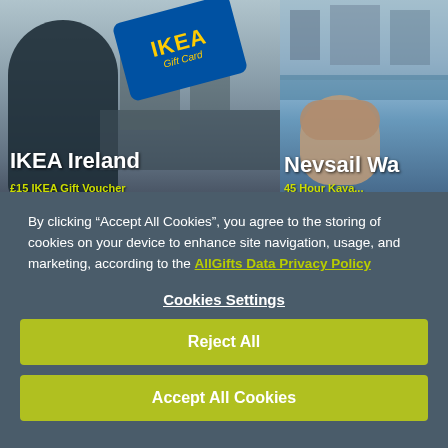[Figure (photo): IKEA Ireland promotional image showing a person in a kitchen with an IKEA Gift Card overlay on a blue card. Text reads 'IKEA Ireland' at bottom left with a yellow subtitle partially visible.]
[Figure (photo): Nevsail Watersports promotional image showing a smiling man outdoors near a river with a castle/bridge in background. Text reads 'Nevsail Wa...' at bottom left with a yellow subtitle partially visible.]
By clicking “Accept All Cookies”, you agree to the storing of cookies on your device to enhance site navigation, usage, and marketing, according to the AllGifts Data Privacy Policy
Cookies Settings
Reject All
Accept All Cookies